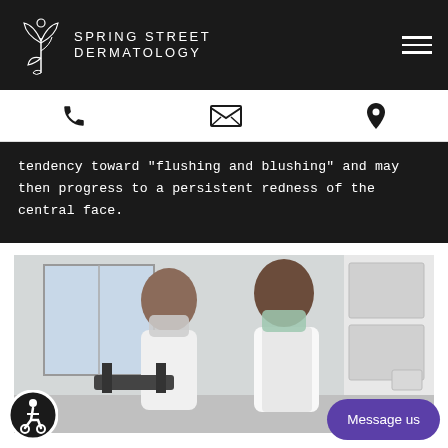Spring Street Dermatology
[Figure (logo): Spring Street Dermatology logo with decorative floral/leaf icon in white on dark background, with hamburger menu icon on the right]
[Figure (infographic): Contact bar with phone icon, envelope/email icon, and map pin/location icon]
tendency toward "flushing and blushing" and may then progress to a persistent redness of the central face.
[Figure (photo): A doctor in a white lab coat and surgical mask consulting with a patient wearing a face mask in a medical office setting]
[Figure (other): Accessibility icon button (person in wheelchair) in a circular dark border at the bottom left]
[Figure (other): Purple 'Message us' chat button at the bottom right]